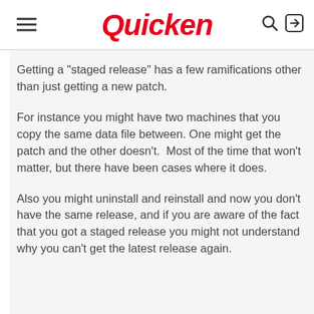Quicken
Getting a "staged release" has a few ramifications other than just getting a new patch.
For instance you might have two machines that you copy the same data file between. One might get the patch and the other doesn't.  Most of the time that won't matter, but there have been cases where it does.
Also you might uninstall and reinstall and now you don't have the same release, and if you are aware of the fact that you got a staged release you might not understand why you can't get the latest release again.